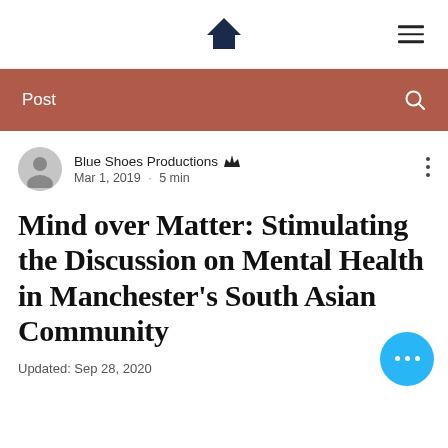Home / Menu navigation bar
Post
Blue Shoes Productions · Mar 1, 2019 · 5 min
Mind over Matter: Stimulating the Discussion on Mental Health in Manchester's South Asian Community
Updated: Sep 28, 2020